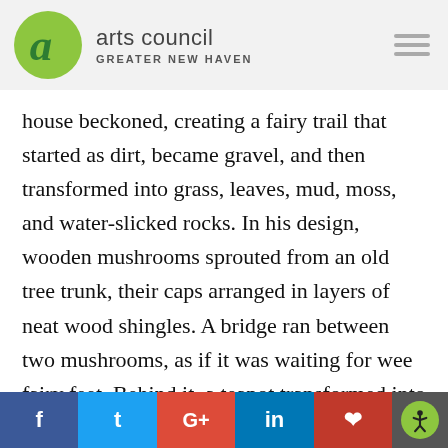arts council GREATER NEW HAVEN
house beckoned, creating a fairy trail that started as dirt, became gravel, and then transformed into grass, leaves, mud, moss, and water-slicked rocks. In his design, wooden mushrooms sprouted from an old tree trunk, their caps arranged in layers of neat wood shingles. A bridge ran between two mushrooms, as if it was waiting for wee fairy feet. Behind it, a teapot transformed into a wood-shingled house with a miniatur
f  t  G+  in  p  [accessibility]